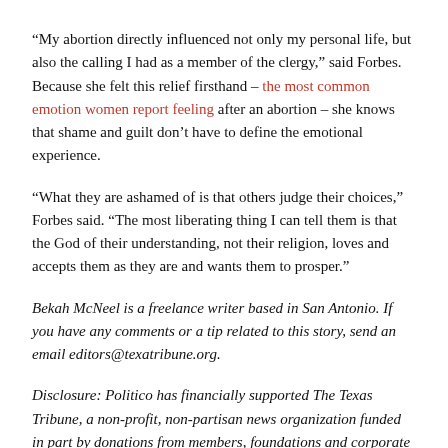“My abortion directly influenced not only my personal life, but also the calling I had as a member of the clergy,” said Forbes. Because she felt this relief firsthand – the most common emotion women report feeling after an abortion – she knows that shame and guilt don’t have to define the emotional experience.
“What they are ashamed of is that others judge their choices,” Forbes said. “The most liberating thing I can tell them is that the God of their understanding, not their religion, loves and accepts them as they are and wants them to prosper.”
Bekah McNeel is a freelance writer based in San Antonio. If you have any comments or a tip related to this story, send an email editors@texatribune.org.
Disclosure: Politico has financially supported The Texas Tribune, a non-profit, non-partisan news organization funded in part by donations from members, foundations and corporate sponsors. Financial support